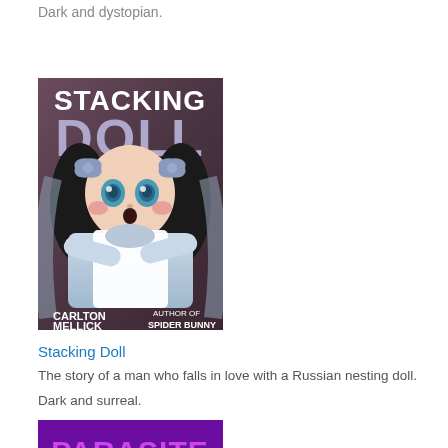Dark and dystopian.
[Figure (illustration): Book cover for 'Stacking Doll' by Carlton Mellick, Author of Spider Bunny. Shows a doll-like girl with large blue eyes, black hair with bows, rosy cheeks, wearing a white apron dress, arms crossed. Dark purple/mauve background with bold white and light purple text.]
Stacking Doll
The story of a man who falls in love with a Russian nesting doll.
Dark and surreal.
[Figure (illustration): Book cover for 'Parasite Milk' — partially visible. Shows bold purple text 'PARASITE MILK' on a purple/dark background with illustrated creature at bottom.]